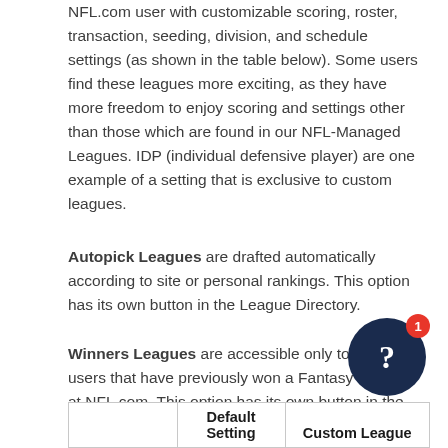NFL.com user with customizable scoring, roster, transaction, seeding, division, and schedule settings (as shown in the table below). Some users find these leagues more exciting, as they have more freedom to enjoy scoring and settings other than those which are found in our NFL-Managed Leagues. IDP (individual defensive player) are one example of a setting that is exclusive to custom leagues.
Autopick Leagues are drafted automatically according to site or personal rankings. This option has its own button in the League Directory.
Winners Leagues are accessible only to those users that have previously won a Fantasy League at NFL.com. This option has its own button in the League Directory.
League Settings
|  | Default Setting | Custom League |
| --- | --- | --- |